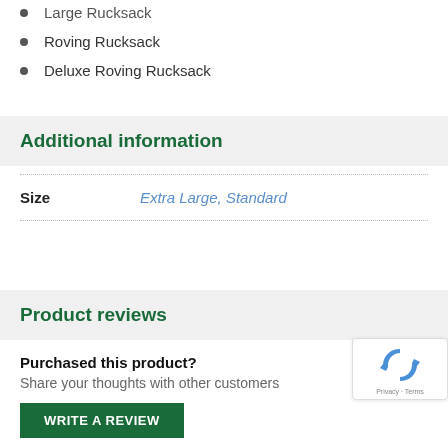Large Rucksack
Roving Rucksack
Deluxe Roving Rucksack
Additional information
| Size | Extra Large, Standard |
| --- | --- |
Product reviews
Purchased this product?
Share your thoughts with other customers
WRITE A REVIEW